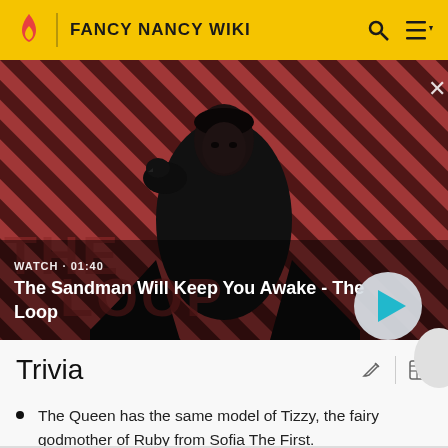FANCY NANCY WIKI
[Figure (screenshot): Video thumbnail showing a dark-clothed figure with a raven on shoulder against a red and dark diagonal striped background. Text overlay: WATCH · 01:40, The Sandman Will Keep You Awake - The Loop. Play button on the right.]
Trivia
The Queen has the same model of Tizzy, the fairy godmother of Ruby from Sofia The First.